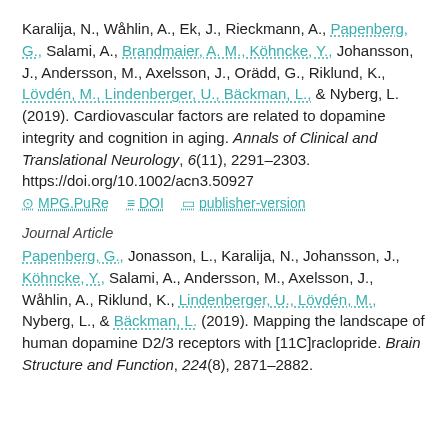Karalija, N., Wåhlin, A., Ek, J., Rieckmann, A., Papenberg, G., Salami, A., Brandmaier, A. M., Köhncke, Y., Johansson, J., Andersson, M., Axelsson, J., Orädd, G., Riklund, K., Lövdén, M., Lindenberger, U., Bäckman, L., & Nyberg, L. (2019). Cardiovascular factors are related to dopamine integrity and cognition in aging. Annals of Clinical and Translational Neurology, 6(11), 2291–2303. https://doi.org/10.1002/acn3.50927
MPG.PuRe | DOI | publisher-version
Journal Article
Papenberg, G., Jonasson, L., Karalija, N., Johansson, J., Köhncke, Y., Salami, A., Andersson, M., Axelsson, J., Wåhlin, A., Riklund, K., Lindenberger, U., Lövdén, M., Nyberg, L., & Bäckman, L. (2019). Mapping the landscape of human dopamine D2/3 receptors with [11C]raclopride. Brain Structure and Function, 224(8), 2871–2882.